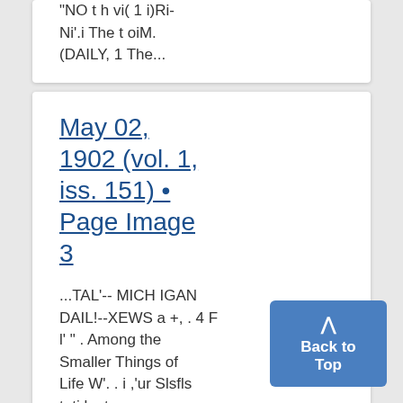"NO t h vi( 1 i)Ri-Ni'.i The t oiM. (DAILY, 1 The...
May 02, 1902 (vol. 1, iss. 151) • Page Image 3
...TAL'-- MICH IGAN DAIL!--XEWS a +, . 4 F l' " . Among the Smaller Things of Life W'. . i ,'ur Slsfls toti l n t mw ile...
Back to Top